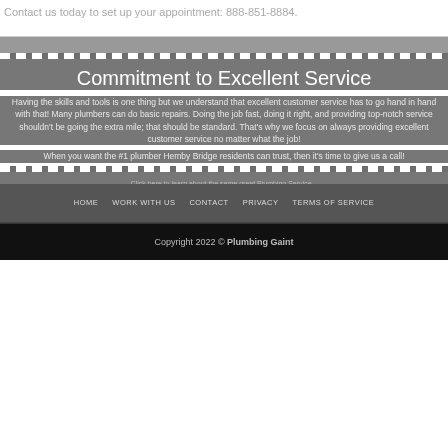Contact us today to set up your appointment: 888-851-8884.
Commitment to Excellent Service
Having the skills and tools is one thing but we understand that excellent customer service has to go hand in hand with that! Many plumbers can do basic repairs. Doing the job fast, doing it right, and providing top-notch service shouldn't be going the extra mile; that should be standard. That's why we focus on always providing excellent customer service no matter what the job!
When you want the #1 plumber Hemby Bridge residents can trust, then it's time to give us a call!
HOME  WORK WITH US  CONTACT  PRIVACY  TERMS OF SERVICE
Copyright 2022 © Plumbing Gaint